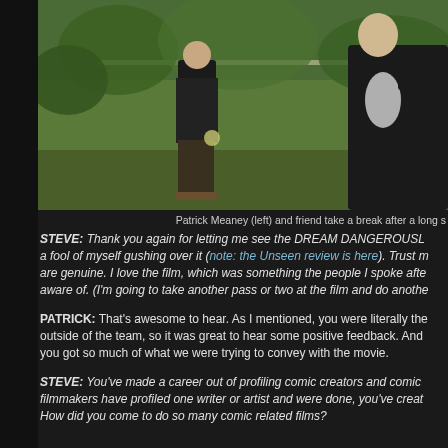[Figure (photo): Two people standing outdoors in a green field/garden area. Patrick Meaney is on the left wearing a black t-shirt and dark pants. A friend is partially visible on the right also in a black t-shirt.]
Patrick Meaney (left) and friend take a break after a long s
STEVE: Thank you again for letting me see the DREAM DANGEROUSL a fool of myself gushing over it (note: the Unseen review is here). Trust m are genuine. I love the film, which was something the people I spoke afte aware of. (I'm going to take another pass or two at the film and do anothe
PATRICK: That’s awesome to hear. As I mentioned, you were literally the outside of the team, so it was great to hear some positive feedback. And you got so much of what we were trying to convey with the movie.
STEVE: You’ve made a career out of profiling comic creators and comic filmmakers have profiled one writer or artist and were done, you’ve creat How did you come to do so many comic related films?